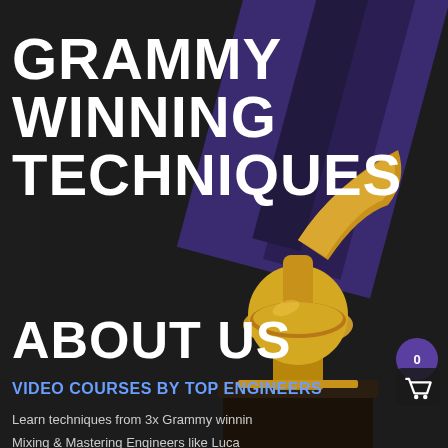GRAMMY WINNING TECHNIQUES
ABOUT US
VIDEO COURSES BY TOP ENGINEERS
Learn techniques from 3x Grammy winnin
Mixing & Mastering Engineers like Luca
[Figure (illustration): Gold Grammy Award trophy with gramophone on dark background with purple diagonal stripes]